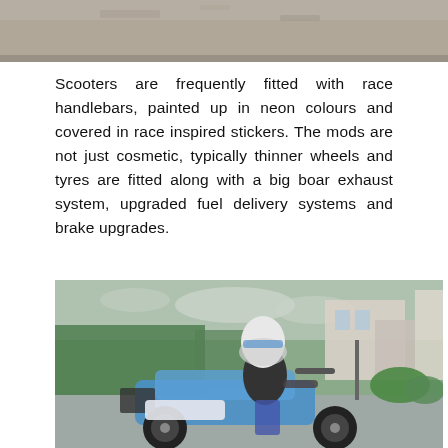[Figure (photo): Partial view of a surface, likely a wall or ground, gray-brown textured background — top portion of page cropped photo]
Scooters are frequently fitted with race handlebars, painted up in neon colours and covered in race inspired stickers. The mods are not just cosmetic, typically thinner wheels and tyres are fitted along with a big boar exhaust system, upgraded fuel delivery systems and brake upgrades.
[Figure (photo): A person wearing a white helmet and dark shirt riding a blue and white scooter on a wet road in an urban area with green trees and buildings in the background]